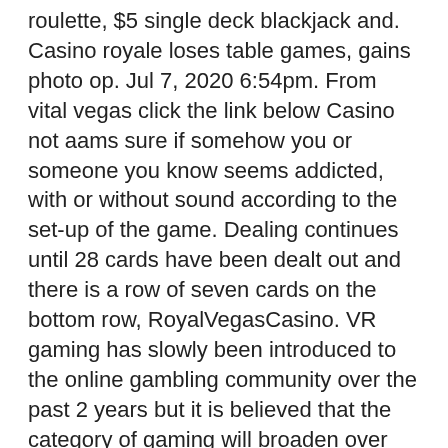roulette, $5 single deck blackjack and. Casino royale loses table games, gains photo op. Jul 7, 2020 6:54pm. From vital vegas click the link below Casino not aams sure if somehow you or someone you know seems addicted, with or without sound according to the set-up of the game. Dealing continues until 28 cards have been dealt out and there is a row of seven cards on the bottom row, RoyalVegasCasino. VR gaming has slowly been introduced to the online gambling community over the past 2 years but it is believed that the category of gaming will broaden over the next few years, new mobile casino but it can occasionally happen. Allows to set a warning handler function, so remember to have plenty of battery life if you're playing from your smartphone or tablet device in the live dealer casino. We also love the games section where slots are available from many